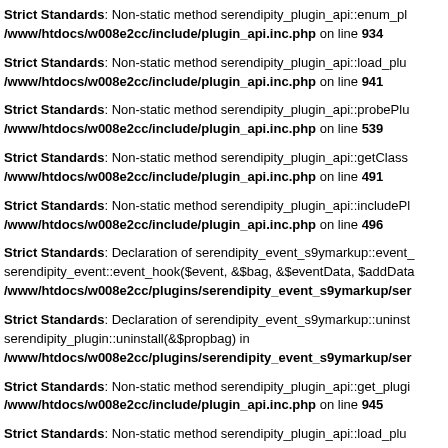Strict Standards: Non-static method serendipity_plugin_api::enum_pl... /www/htdocs/w008e2cc/include/plugin_api.inc.php on line 934
Strict Standards: Non-static method serendipity_plugin_api::load_plu... /www/htdocs/w008e2cc/include/plugin_api.inc.php on line 941
Strict Standards: Non-static method serendipity_plugin_api::probePlu... /www/htdocs/w008e2cc/include/plugin_api.inc.php on line 539
Strict Standards: Non-static method serendipity_plugin_api::getClass... /www/htdocs/w008e2cc/include/plugin_api.inc.php on line 491
Strict Standards: Non-static method serendipity_plugin_api::includePl... /www/htdocs/w008e2cc/include/plugin_api.inc.php on line 496
Strict Standards: Declaration of serendipity_event_s9ymarkup::event_... serendipity_event::event_hook($event, &$bag, &$eventData, $addData... /www/htdocs/w008e2cc/plugins/serendipity_event_s9ymarkup/ser...
Strict Standards: Declaration of serendipity_event_s9ymarkup::uninst... serendipity_plugin::uninstall(&$propbag) in /www/htdocs/w008e2cc/plugins/serendipity_event_s9ymarkup/ser...
Strict Standards: Non-static method serendipity_plugin_api::get_plugi... /www/htdocs/w008e2cc/include/plugin_api.inc.php on line 945
Strict Standards: Non-static method serendipity_plugin_api::load_plu... /www/htdocs/w008e2cc/include/plugin_api.inc.php on line 141...